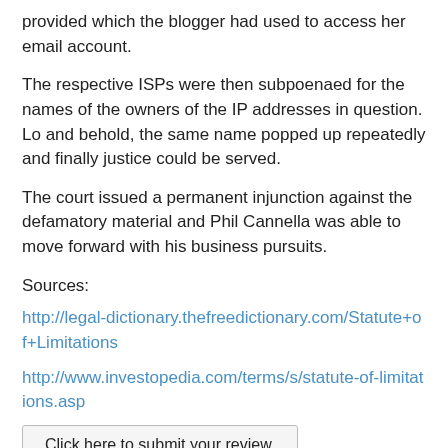provided which the blogger had used to access her email account.
The respective ISPs were then subpoenaed for the names of the owners of the IP addresses in question. Lo and behold, the same name popped up repeatedly and finally justice could be served.
The court issued a permanent injunction against the defamatory material and Phil Cannella was able to move forward with his business pursuits.
Sources:
http://legal-dictionary.thefreedictionary.com/Statute+of+Limitations
http://www.investopedia.com/terms/s/statute-of-limitations.asp
Click here to submit your review.